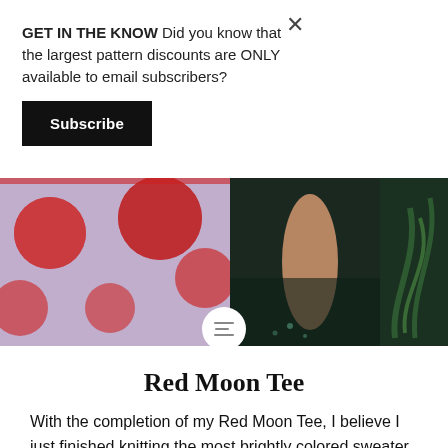GET IN THE KNOW Did you know that the largest pattern discounts are ONLY available to email subscribers?
Subscribe
[Figure (photo): Close-up of a knitted sweater with red polka dot moon pattern on a multicolor background, with a person's arm and green plants visible on the right side]
Red Moon Tee
With the completion of my Red Moon Tee, I believe I just finished knitting the most brightly colored sweater I've ever made. It is so fun! PROJECT BREAKDOWN Pattern: Red